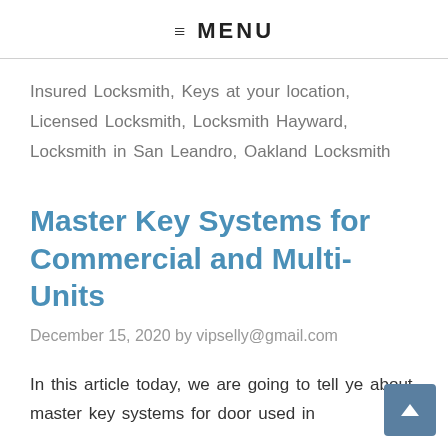≡ MENU
Insured Locksmith, Keys at your location, Licensed Locksmith, Locksmith Hayward, Locksmith in San Leandro, Oakland Locksmith
Master Key Systems for Commercial and Multi-Units
December 15, 2020 by vipselly@gmail.com
In this article today, we are going to tell you about master key systems for door used in